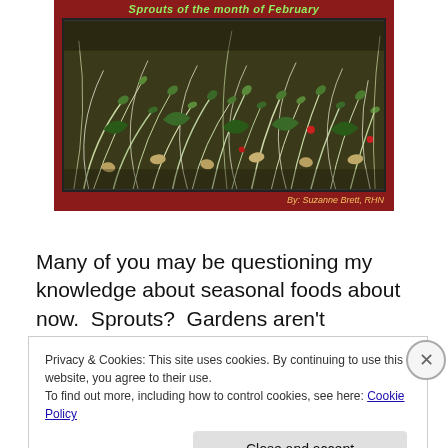[Figure (photo): Blog post banner with dark red background. Top text reads 'Sprouts of the month of February' in italic green text. Center shows a close-up photograph of mixed sprouts (alfalfa, clover, radish) in greens and tans with a few red seeds visible. Bottom right has byline: 'By: Suzanne Brett, RHN' in gold italic text.]
Many of you may be questioning my knowledge about seasonal foods about now.  Sprouts?  Gardens aren't sprouting yet!?   It's still cold outside!   You're correct.
Privacy & Cookies: This site uses cookies. By continuing to use this website, you agree to their use.
To find out more, including how to control cookies, see here: Cookie Policy
Close and accept